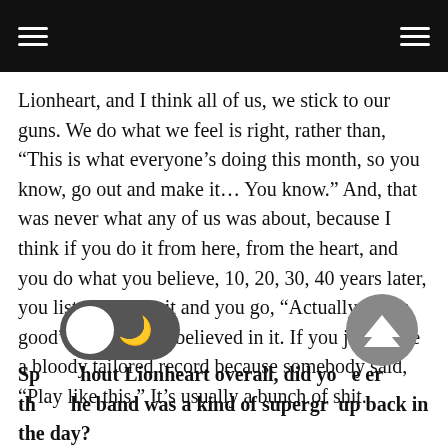Lionheart, and I think all of us, we stick to our guns. We do what we feel is right, rather than, “This is what everyone’s doing this month, so you know, go out and make it… You know.” And, that was never what any of us was about, because I think if you do it from here, from the heart, and you do what you believe, 10, 20, 30, 40 years later, you listen back to it and you go, “Actually, that’s good” because you believed in it. If you just make a bloody tailored record because somebody said, “Play like this.” It’s usually a bunch of shit.
Speaking about Lionheart overall, did you ever think the band was a kind of supergroup back in the day?